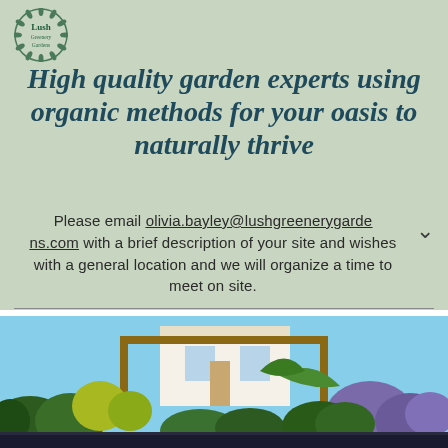[Figure (logo): Lush Greenery Gardens circular logo with leaf/wreath border]
High quality garden experts using organic methods for your oasis to naturally thrive
Please email olivia.bayley@lushgreenerygarden​s.com with a brief description of your site and wishes with a general location and we will organize a time to meet on site.
[Figure (photo): Lush garden with green shrubs, tropical plants, purple flowers, wooden pergola structure, and a white building in the background]